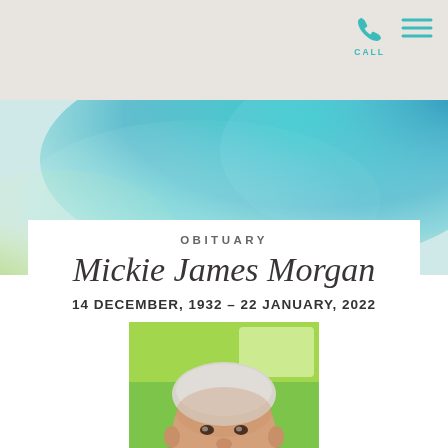CALL
[Figure (illustration): Watercolor banner with teal/blue and green wash abstract background]
OBITUARY
Mickie James Morgan
14 DECEMBER, 1932 – 22 JANUARY, 2022
[Figure (photo): Portrait photo of an elderly man with white hair, smiling, wearing a light blue shirt, outdoors with green grass background]